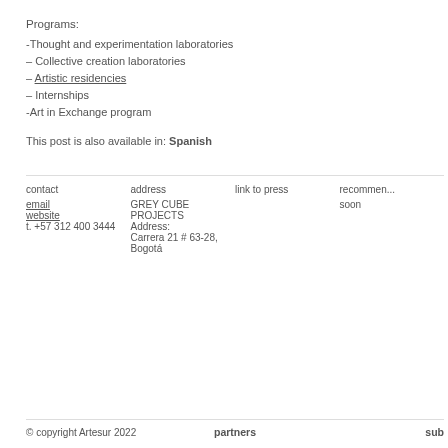Programs:
-Thought and experimentation laboratories
– Collective creation laboratories
– Artistic residencies
– Internships
-Art in Exchange program
This post is also available in: Spanish
contact
email
website
t. +57 312 400 3444
address
GREY CUBE PROJECTS
Address:
Carrera 21 # 63-28,
Bogotá
link to press
recommend
soon
© copyright Artesur 2022     partners     sub